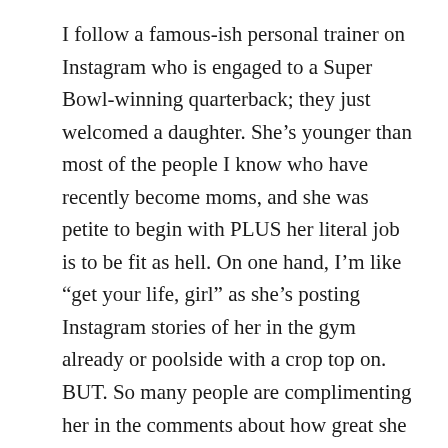I follow a famous-ish personal trainer on Instagram who is engaged to a Super Bowl-winning quarterback; they just welcomed a daughter. She’s younger than most of the people I know who have recently become moms, and she was petite to begin with PLUS her literal job is to be fit as hell. On one hand, I’m like “get your life, girl” as she’s posting Instagram stories of her in the gym already or poolside with a crop top on. BUT. So many people are complimenting her in the comments about how great she looks just weeks out of the hospital. I feel she’s sending a wildly unnatural (and dangerous? problematic?) message to her younger followers who haven’t yet had children about what they should aspire to postpartum. Not that they can never go in the gym again or look even “better” post-baby, but it’s an